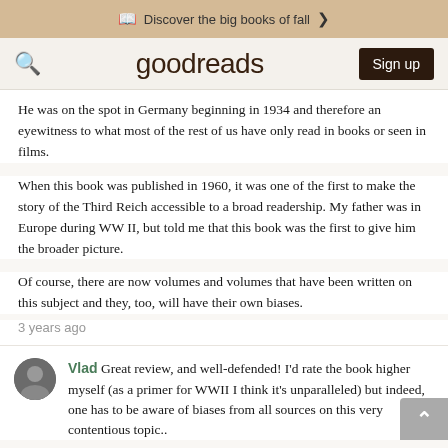Discover the big books of fall >
[Figure (logo): Goodreads logo with search icon and Sign up button]
He was on the spot in Germany beginning in 1934 and therefore an eyewitness to what most of the rest of us have only read in books or seen in films.
When this book was published in 1960, it was one of the first to make the story of the Third Reich accessible to a broad readership. My father was in Europe during WW II, but told me that this book was the first to give him the broader picture.
Of course, there are now volumes and volumes that have been written on this subject and they, too, will have their own biases.
3 years ago
Vlad Great review, and well-defended! I'd rate the book higher myself (as a primer for WWII I think it's unparalleled) but indeed, one has to be aware of biases from all sources on this very contentious topic..